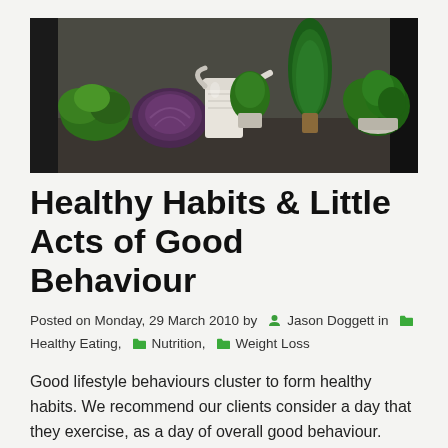[Figure (photo): Photograph of various potted herbs and plants on a surface, including green leafy herbs, a purple cabbage, rosemary, and basil, with a white watering can in the center background.]
Healthy Habits & Little Acts of Good Behaviour
Posted on Monday, 29 March 2010 by  Jason Doggett in  Healthy Eating,  Nutrition,  Weight Loss
Good lifestyle behaviours cluster to form healthy habits. We recommend our clients consider a day that they exercise, as a day of overall good behaviour.